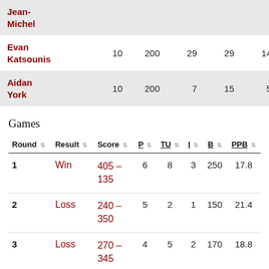| Name | Games | Points | TU | I | B | PPB |
| --- | --- | --- | --- | --- | --- | --- |
| Jean-Michel |  |  |  |  |  |  |
| Evan Katsounis | 10 | 200 | 29 | 29 | 14 | 50.0% |
| Aidan York | 10 | 200 | 7 | 15 | 5 | 31.8% |
Games
| Round | Result | Score | P | TU | I | B | PPB |
| --- | --- | --- | --- | --- | --- | --- | --- |
| 1 | Win | 405 – 135 | 6 | 8 | 3 | 250 | 17.8 |
| 2 | Loss | 240 – 350 | 5 | 2 | 1 | 150 | 21.4 |
| 3 | Loss | 270 – 345 | 4 | 5 | 2 | 170 | 18.8 |